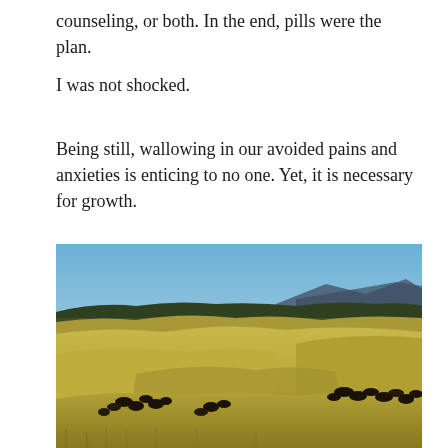counseling, or both. In the end, pills were the plan.
I was not shocked.
Being still, wallowing in our avoided pains and anxieties is enticing to no one. Yet, it is necessary for growth.
[Figure (photo): Landscape photograph of rolling golden grassland hills under a blue sky, with mountains in the background and a herd of dark bison grazing on the hillside in the foreground.]